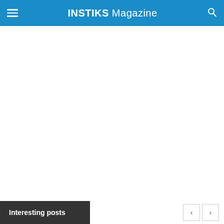INSTIKS Magazine
[Figure (other): White blank content area below the navigation header]
Interesting posts
< >